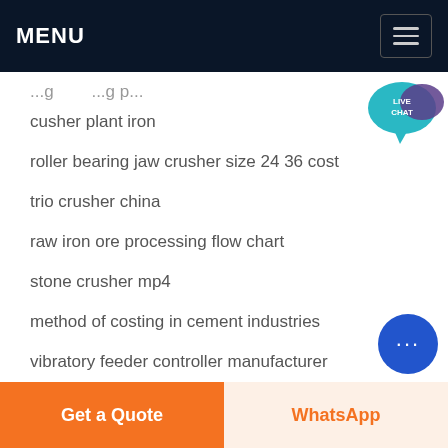MENU
cusher plant iron
roller bearing jaw crusher size 24 36 cost
trio crusher china
raw iron ore processing flow chart
stone crusher mp4
method of costing in cement industries
vibratory feeder controller manufacturer
wet grinder bangladesh
Get a Quote
WhatsApp